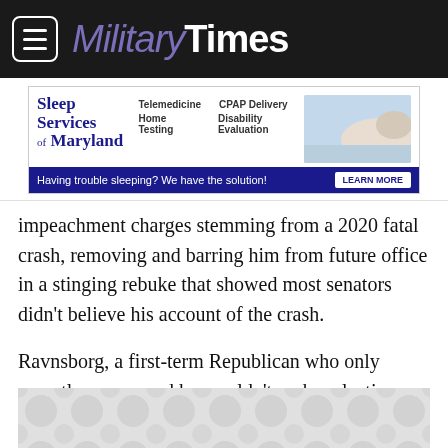Military Times
[Figure (screenshot): Sleep Services of Maryland advertisement banner: Telemedicine, Home Testing, CPAP Delivery, Disability Evaluation. 'Having trouble sleeping? We have the solution!' with LEARN MORE button.]
impeachment charges stemming from a 2020 fatal crash, removing and barring him from future office in a stinging rebuke that showed most senators didn't believe his account of the crash.
Ravnsborg, a first-term Republican who only recently announced he wouldn't seek reelection, showed little emotion as senators convicted him first of committing a crime that caused someone's death. They then delivered another guilty verdict on a malfeasance charge that alleged he misled investigators and
[Figure (other): Bottom advertisement placeholder with circular pattern background]